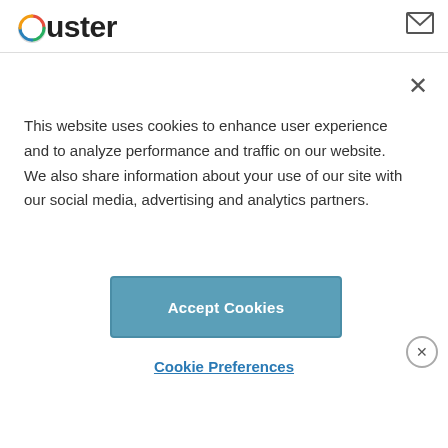Ouster
This website uses cookies to enhance user experience and to analyze performance and traffic on our website. We also share information about your use of our site with our social media, advertising and analytics partners.
Accept Cookies
Cookie Preferences
marriage, with Switzerland and Austria expected to pass
legislation in the coming year. Though the geographical scope of LGBTQ-friendly destinations continues to increase, these eight destinations stand out for their open-mindedness and appeal for LGBTQ travelers.
ADVERTISEMENT